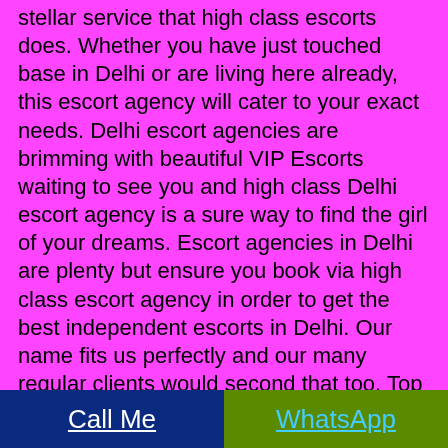stellar service that high class escorts does. Whether you have just touched base in Delhi or are living here already, this escort agency will cater to your exact needs. Delhi escort agencies are brimming with beautiful VIP Escorts waiting to see you and high class Delhi escort agency is a sure way to find the girl of your dreams. Escort agencies in Delhi are plenty but ensure you book via high class escort agency in order to get the best independent escorts in Delhi. Our name fits us perfectly and our many regular clients would second that too. Top Delhi VIP Escorts can be found in an elite escort. Our high class escort agency will guarantee the best escort service in Delhi.
Escorts in Delhi are of different kinds. You may find sexy MILFs, housewives, college girls and air hostesses at work. If you are specifically looking for a housewife Delhi escort with whom you can spend some really raunchy moments, then you need to keep few things and amazing idea in mind. These are
Call Me   WhatsApp